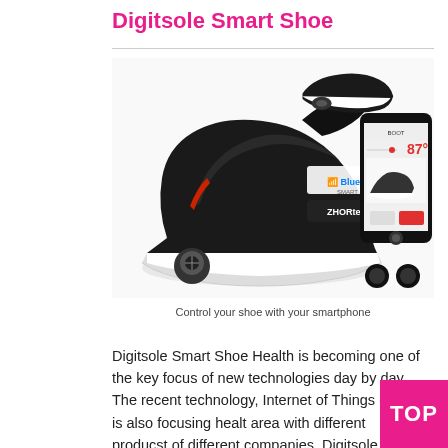Digitsole Smart Shoe
[Figure (photo): Digitsole Smart Shoe product image showing a futuristic black and white high-top sneaker from multiple angles, with Bluetooth logo, ZHOR tech branding, and a smartphone app showing temperature control at 87 degrees.]
Control your shoe with your smartphone
Digitsole Smart Shoe Health is becoming one of the key focus of new technologies day by day. The recent technology, Internet of Things (IoT) is also focusing healt area with different producst of different companies. Digitsole is one of these Internet of Things (IoT) companies,